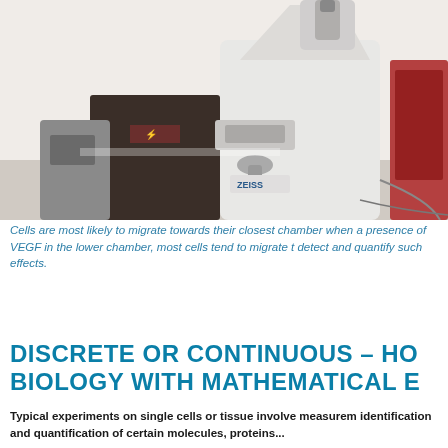[Figure (photo): Laboratory microscope (Zeiss brand) on a bench, showing the eyepiece and stage of an inverted microscope setup in a research lab environment.]
Cells are most likely to migrate towards their closest chamber when a presence of VEGF in the lower chamber, most cells tend to migrate t detect and quantify such effects.
DISCRETE OR CONTINUOUS – HO BIOLOGY with MATHEMATICAL E
Typical experiments on single cells or tissue involve measurem identification and quantification of certain molecules, proteins...